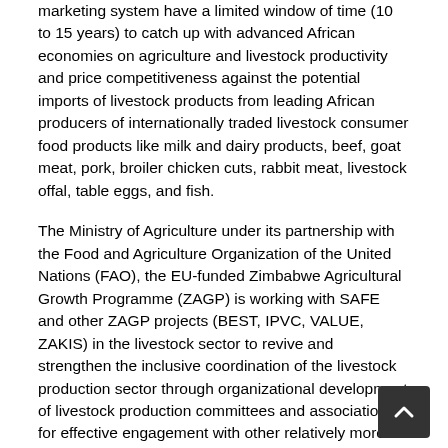marketing system have a limited window of time (10 to 15 years) to catch up with advanced African economies on agriculture and livestock productivity and price competitiveness against the potential imports of livestock products from leading African producers of internationally traded livestock consumer food products like milk and dairy products, beef, goat meat, pork, broiler chicken cuts, rabbit meat, livestock offal, table eggs, and fish.
The Ministry of Agriculture under its partnership with the Food and Agriculture Organization of the United Nations (FAO), the EU-funded Zimbabwe Agricultural Growth Programme (ZAGP) is working with SAFE and other ZAGP projects (BEST, IPVC, VALUE, ZAKIS) in the livestock sector to revive and strengthen the inclusive coordination of the livestock production sector through organizational development of livestock production committees and associations for effective engagement with other relatively more organized livestock value chain actors through organizing regular livestock business meetings and networking events at district, provincial and national lev